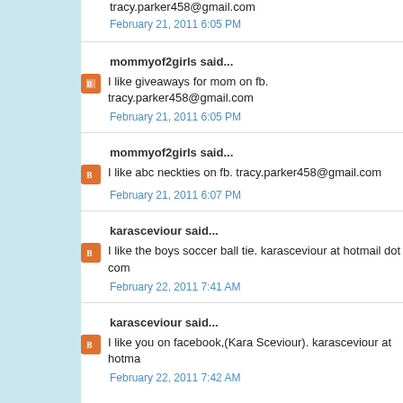tracy.parker458@gmail.com
February 21, 2011 6:05 PM
mommyof2girls said...
I like giveaways for mom on fb. tracy.parker458@gmail.com
February 21, 2011 6:05 PM
mommyof2girls said...
I like abc neckties on fb. tracy.parker458@gmail.com
February 21, 2011 6:07 PM
karasceviour said...
I like the boys soccer ball tie. karasceviour at hotmail dot com
February 22, 2011 7:41 AM
karasceviour said...
I like you on facebook,(Kara Sceviour). karasceviour at hotma…
February 22, 2011 7:42 AM